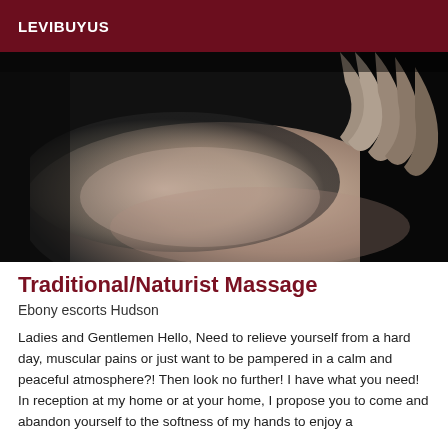LEVIBUYUS
[Figure (photo): Close-up black and white photograph of hands massaging a person's back/body, artistic and tactile in nature.]
Traditional/Naturist Massage
Ebony escorts Hudson
Ladies and Gentlemen Hello, Need to relieve yourself from a hard day, muscular pains or just want to be pampered in a calm and peaceful atmosphere?! Then look no further! I have what you need! In reception at my home or at your home, I propose you to come and abandon yourself to the softness of my hands to enjoy a